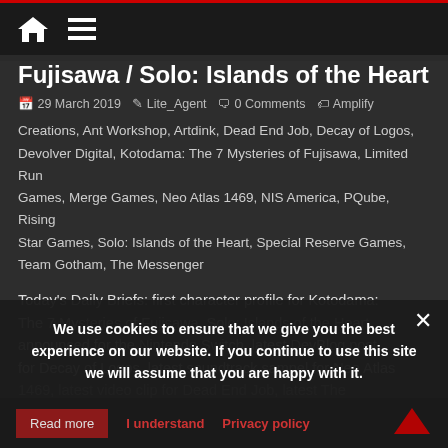[home icon] [menu icon]
Fujisawa / Solo: Islands of the Heart
29 March 2019  Lite_Agent  0 Comments  Amplify
Creations, Ant Workshop, Artdink, Dead End Job, Decay of Logos, Devolver Digital, Kotodama: The 7 Mysteries of Fujisawa, Limited Run Games, Merge Games, Neo Atlas 1469, NIS America, PQube, Rising Star Games, Solo: Islands of the Heart, Special Reserve Games, Team Gotham, The Messenger
Today's Daily Briefs: first character profile for Kotodama: The 7 Mysteries of Fujisawa, Solo: Islands of the Heart announced for the Nintendo Switch, latest DevBlog post for Decay of Logos, latest soundtrack sampel for Neo Atlas 1469, latest video clip for Dead End Job, latest The Messenger Download video, and later we look at the The Messenger limited physical release.
We use cookies to ensure that we give you the best experience on our website. If you continue to use this site we will assume that you are happy with it.
Read more  I understand  Privacy policy